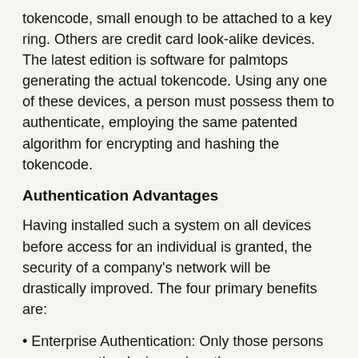tokencode, small enough to be attached to a key ring. Others are credit card look-alike devices. The latest edition is software for palmtops generating the actual tokencode. Using any one of these devices, a person must possess them to authenticate, employing the same patented algorithm for encrypting and hashing the tokencode.
Authentication Advantages
Having installed such a system on all devices before access for an individual is granted, the security of a company's network will be drastically improved. The four primary benefits are:
• Enterprise Authentication: Only those persons can access the devices when they are authorized to possess and use a token and PIN.
• Access Control: This is essential to protect against outsider attacks or malicious employees.
• Evasion of Attack: Hackers will try to unexpectedly gain access to a network. The Server identifies threat conditions, which are reported to the logs and alert the